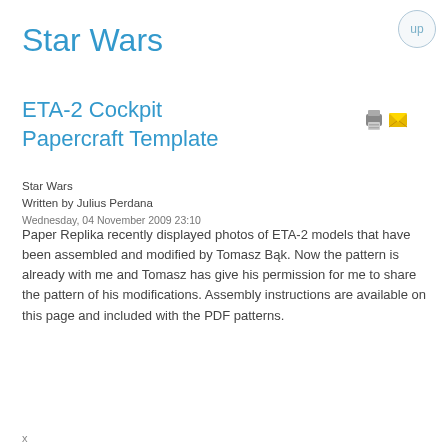up
Star Wars
ETA-2 Cockpit Papercraft Template
Star Wars
Written by Julius Perdana
Wednesday, 04 November 2009 23:10
Paper Replika recently displayed photos of ETA-2 models that have been assembled and modified by Tomasz Bąk. Now the pattern is already with me and Tomasz has give his permission for me to share the pattern of his modifications. Assembly instructions are available on this page and included with the PDF patterns.